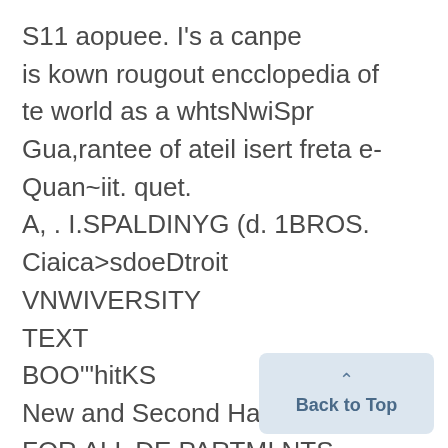S11 aopuee. I's a canpe is kown rougout encclopedia of te world as a whtsNwiSpr Gua,rantee of ateil isert freta e-Quan~iit. quet.
A, . I.SPALDINYG (d. 1BROS.
Ciaica>sdoeDtroit
VNWIVERSITY
TEXT
BOO'"hitKS
New and Second Hard
FOR ALL DE PARTMI NTS
Drawing Instruments
WetareAgnts for